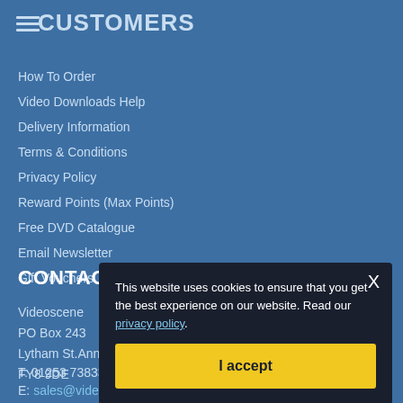CUSTOMERS
How To Order
Video Downloads Help
Delivery Information
Terms & Conditions
Privacy Policy
Reward Points (Max Points)
Free DVD Catalogue
Email Newsletter
Gift Vouchers
CONTACT US
Videoscene
PO Box 243
Lytham St.Annes
FY8 9DE
T: 01253 738336
E: sales@videoscene.co.uk
This website uses cookies to ensure that you get the best experience on our website. Read our privacy policy.
I accept